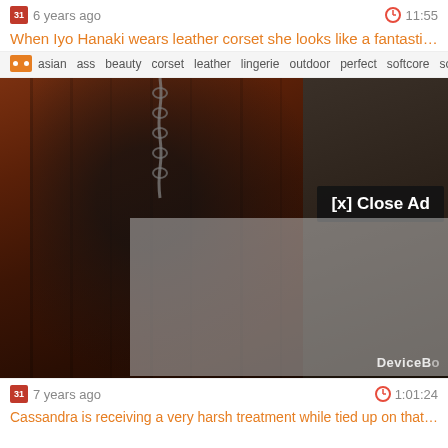6 years ago  11:55
When Iyo Hanaki wears leather corset she looks like a fantastic super ...
asian  ass  beauty  corset  leather  lingerie  outdoor  perfect  softcore  solo  st...
[Figure (screenshot): Video thumbnail showing a person in black latex/leather outfit suspended by chains, with a semi-transparent ad overlay and a '[x] Close Ad' button. DeviceBo watermark visible at bottom right.]
7 years ago  1:01:24
Cassandra is receiving a very harsh treatment while tied up on that bo...